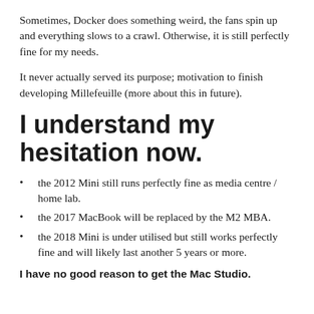Sometimes, Docker does something weird, the fans spin up and everything slows to a crawl. Otherwise, it is still perfectly fine for my needs.
It never actually served its purpose; motivation to finish developing Millefeuille (more about this in future).
I understand my hesitation now.
the 2012 Mini still runs perfectly fine as media centre / home lab.
the 2017 MacBook will be replaced by the M2 MBA.
the 2018 Mini is under utilised but still works perfectly fine and will likely last another 5 years or more.
I have no good reason to get the Mac Studio.